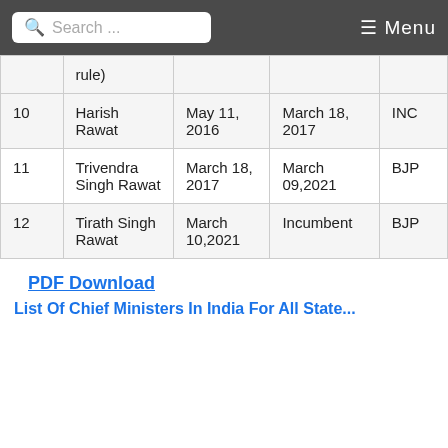Search ... Menu
| # | Name | From | To | Party |
| --- | --- | --- | --- | --- |
|  | rule) |  |  |  |
| 10 | Harish Rawat | May 11, 2016 | March 18, 2017 | INC |
| 11 | Trivendra Singh Rawat | March 18, 2017 | March 09,2021 | BJP |
| 12 | Tirath Singh Rawat | March 10,2021 | Incumbent | BJP |
PDF Download
List Of Chief Ministers In India For All State...